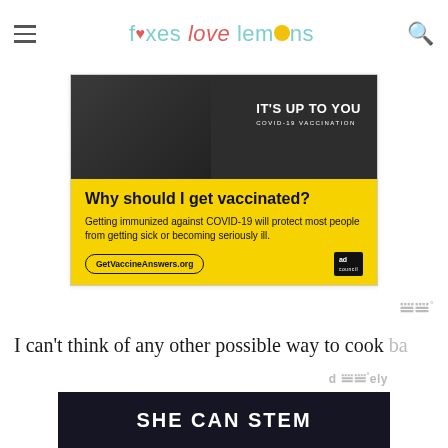foxes love lemons
[Figure (photo): COVID-19 vaccination advertisement banner. Top half shows a bearded man with dark background and text 'IT'S UP TO YOU COVID-19 VACCINATION'. Bottom half is yellow with headline 'Why should I get vaccinated?', body text 'Getting immunized against COVID-19 will protect most people from getting sick or becoming seriously ill.', CTA button 'GetVaccineAnswers.org' and Ad Council logo.]
[Figure (logo): Moat measurement logo - stylized 'ww' letters with degree symbol]
I can't think of any other possible way to cook b...
[Figure (screenshot): Dark banner ad with text 'SHE CAN STEM']